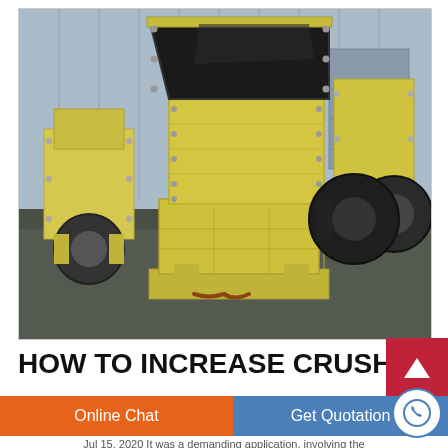[Figure (photo): Industrial impact crusher / hammer mill machine painted yellow, with large open feed hopper at top, positioned in a warehouse/factory setting. Multiple similar yellow crushing machines visible in background. Dark floor, corrugated metal walls.]
HOW TO INCREASE CRUSHING
Online Chat
Get Quotation
Jul 15, 2020 It was a demanding application, involving the